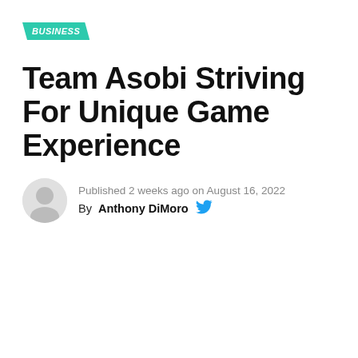BUSINESS
Team Asobi Striving For Unique Game Experience
Published 2 weeks ago on August 16, 2022
By Anthony DiMoro